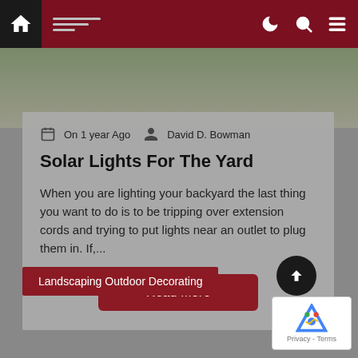Navigation bar with home icon, menu lines, moon/dark mode icon, search icon, hamburger menu icon
[Figure (photo): Hero background image showing outdoor landscaping with gravel, plants and trees]
On 1 year Ago  David D. Bowman
Solar Lights For The Yard
When you are lighting your backyard the last thing you want to do is to be tripping over extension cords and trying to put lights near an outlet to plug them in. If,...
Read More
Landscaping Outdoor Decorating